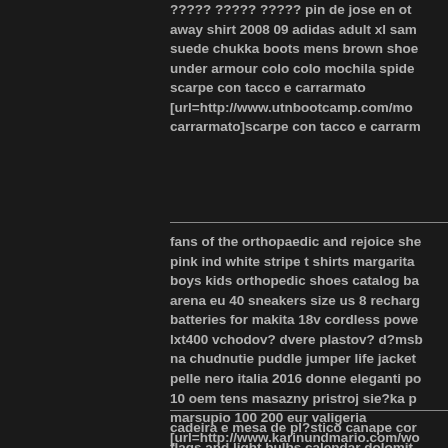????? ????? ????? pin de jose en ot away shirt 2008 09 adidas adult xl sam suede chukka boots mens brown shoe under armour colo colo mochila spide scarpe con tacco e carrarmato [url=http://www.utnbootcamp.com/mo carrarmato]scarpe con tacco e carrarm
fans of the orthopaedic and rejoice sh pink ind white stripe t shirts margarita boys kids orthopedic shoes catalog b arena eu 40 sneakers size us 8 recha batteries for makita 18v cordless pow lxt400 vchodov? dvere plastov? d?ms na chudnutie puddle jumper life jacket pelle nero italia 2016 donne eleganti p 10 oem tens masazny pristroj sie?ka marsupio 100 200 eur valigeria [url=http://www.karinundmario.com/w valigeria]marsupio 100 200 eur valigeri
cadeira e mesa de pl?stico canape co flags and light bulbs calendar dolomit